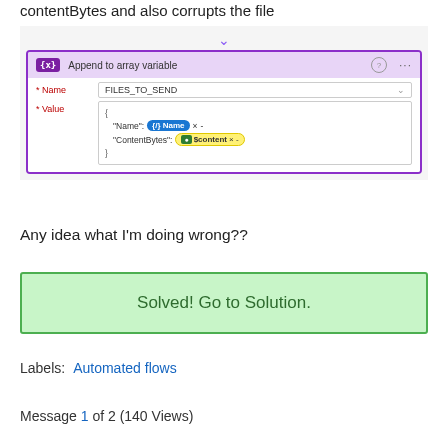contentBytes and also corrupts the file
[Figure (screenshot): Screenshot of Power Automate 'Append to array variable' action. Name field: FILES_TO_SEND. Value field shows JSON with 'Name': [Name token] and 'ContentBytes': [$content token highlighted in yellow].]
Any idea what I'm doing wrong??
Solved! Go to Solution.
Labels:   Automated flows
Message 1 of 2 (140 Views)